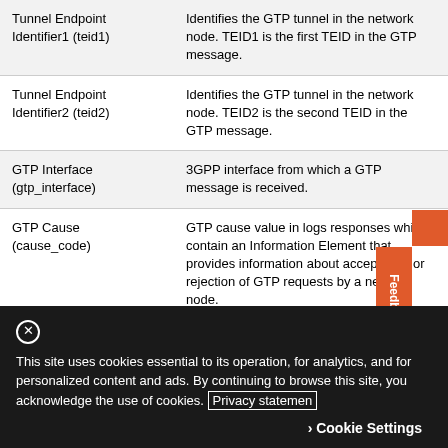| Term | Description |
| --- | --- |
| Tunnel Endpoint Identifier1 (teid1) | Identifies the GTP tunnel in the network node. TEID1 is the first TEID in the GTP message. |
| Tunnel Endpoint Identifier2 (teid2) | Identifies the GTP tunnel in the network node. TEID2 is the second TEID in the GTP message. |
| GTP Interface (gtp_interface) | 3GPP interface from which a GTP message is received. |
| GTP Cause (cause_code) | GTP cause value in logs responses which contain an Information Element that provides information about acceptance or rejection of GTP requests by a network node. |
This site uses cookies essential to its operation, for analytics, and for personalized content and ads. By continuing to browse this site, you acknowledge the use of cookies. Privacy statement